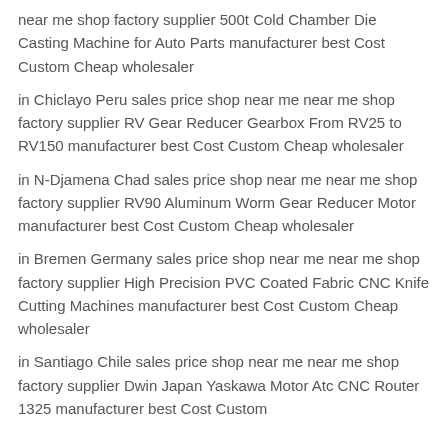near me shop factory supplier 500t Cold Chamber Die Casting Machine for Auto Parts manufacturer best Cost Custom Cheap wholesaler
in Chiclayo Peru sales price shop near me near me shop factory supplier RV Gear Reducer Gearbox From RV25 to RV150 manufacturer best Cost Custom Cheap wholesaler
in N-Djamena Chad sales price shop near me near me shop factory supplier RV90 Aluminum Worm Gear Reducer Motor manufacturer best Cost Custom Cheap wholesaler
in Bremen Germany sales price shop near me near me shop factory supplier High Precision PVC Coated Fabric CNC Knife Cutting Machines manufacturer best Cost Custom Cheap wholesaler
in Santiago Chile sales price shop near me near me shop factory supplier Dwin Japan Yaskawa Motor Atc CNC Router 1325 manufacturer best Cost Custom